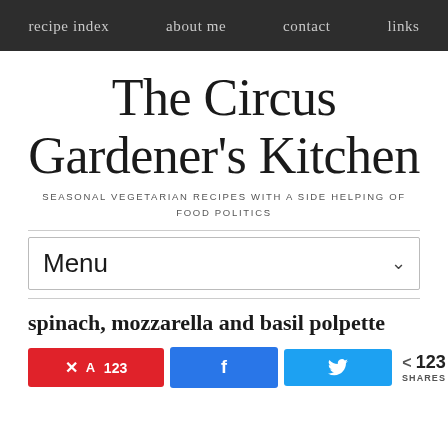recipe index   about me   contact   links
The Circus Gardener's Kitchen
SEASONAL VEGETARIAN RECIPES WITH A SIDE HELPING OF FOOD POLITICS
Menu
spinach, mozzarella and basil polpette
A 123  Share  123 SHARES